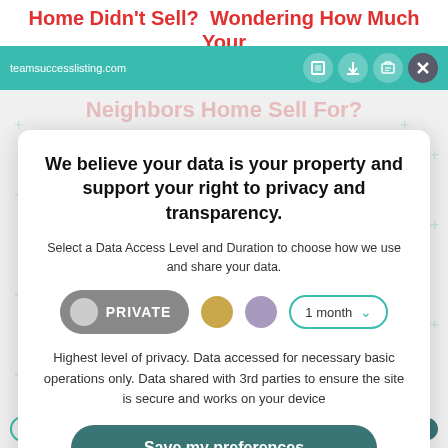Home Didn't Sell? Wondering How Much Your
teamsuccesslisting.com
Neighbors Home Sell For?
We believe your data is your property and support your right to privacy and transparency.
Select a Data Access Level and Duration to choose how we use and share your data.
PRIVATE
1 month
Highest level of privacy. Data accessed for necessary basic operations only. Data shared with 3rd parties to ensure the site is secure and works on your device
Save my preferences
Customize
Privacy policy | Do Not Sell